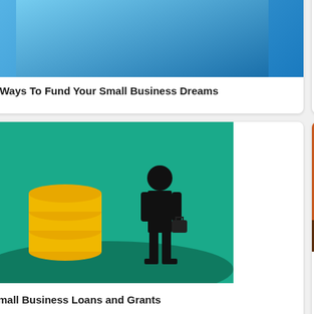[Figure (photo): Blue gradient image for small business funding article]
3 Ways To Fund Your Small Business Dreams
[Figure (illustration): Illustration of businessman standing next to stack of gold coins on teal background]
Small Business Loans and Grants
[Figure (photo): Startup text on blue background with rocket]
[Figure (photo): Business in Hard Times - top cropped text visible]
[Figure (photo): Person writing at desk with laptop on orange background]
Small Business Financing Trends in 2019
[Figure (photo): Hands holding a US dollar bill in black and white]
Five Ways To Boost Your Business In Hard Times
[Figure (photo): Owner - partial text visible, dark background]
Which... Fill O...
[Figure (photo): Partial dark image on right column]
Finan... Disce... Owne...